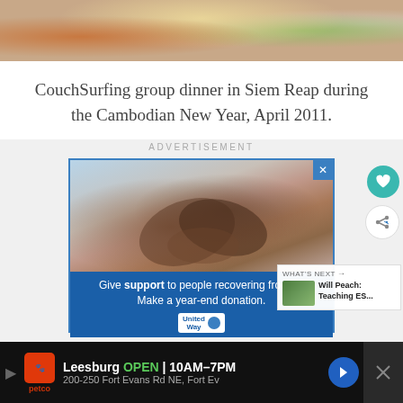[Figure (photo): Top portion of a photo showing people at a dinner table — partial view of food, drinks, and hands visible]
CouchSurfing group dinner in Siem Reap during the Cambodian New Year, April 2011.
ADVERTISEMENT
[Figure (photo): Advertisement banner: Photo of two people holding hands, with text 'Give support to people recovering from cri[sis]. Make a year-end donation.' United Way logo. WHAT'S NEXT: Will Peach: Teaching ES...]
[Figure (other): Bottom advertisement bar: Petco store — Leesburg OPEN | 10AM–7PM, 200-250 Fort Evans Rd NE, Fort Ev]